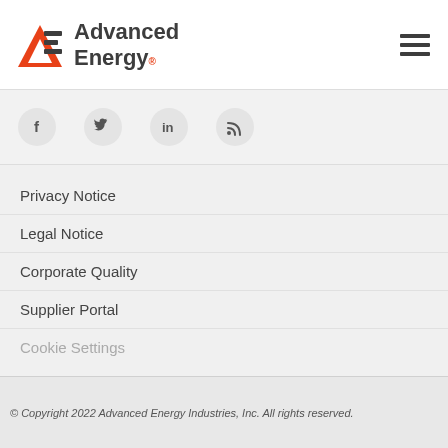[Figure (logo): Advanced Energy logo with orange triangle/AE icon and dark gray text reading 'Advanced Energy.']
[Figure (other): Hamburger menu icon (three horizontal lines) in top right corner]
[Figure (other): Four social media icons: Facebook (f), Twitter (bird), LinkedIn (in), RSS feed]
Privacy Notice
Legal Notice
Corporate Quality
Supplier Portal
Cookie Settings
© Copyright 2022 Advanced Energy Industries, Inc. All rights reserved.